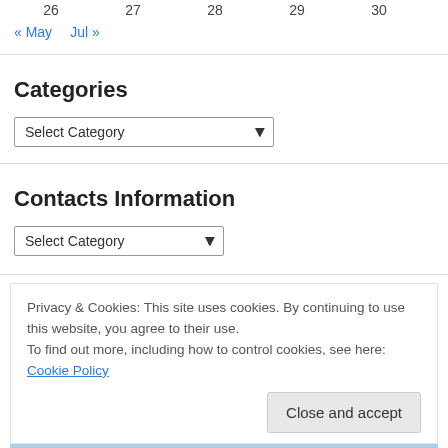26   27   28   29   30
« May   Jul »
Categories
[Figure (screenshot): A dropdown select box showing 'Select Category' with a chevron arrow]
Contacts Information
[Figure (screenshot): A dropdown select box showing 'Select Category' with a chevron arrow, narrower width]
Privacy & Cookies: This site uses cookies. By continuing to use this website, you agree to their use.
To find out more, including how to control cookies, see here: Cookie Policy
Close and accept
[Figure (map): Map strip showing San Diego, CA 92109 with a red location pin marker]